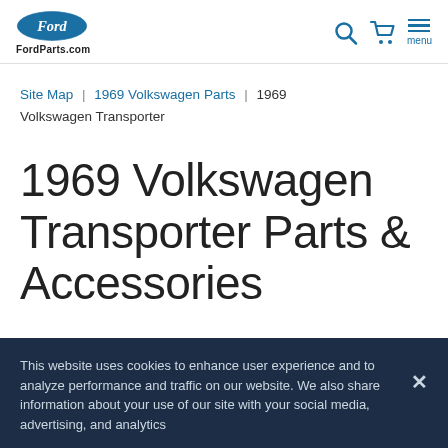FordParts.com
Site Map | 1969 Volkswagen Parts | 1969 Volkswagen Transporter
1969 Volkswagen Transporter Parts & Accessories
This website uses cookies to enhance user experience and to analyze performance and traffic on our website. We also share information about your use of our site with your social media, advertising, and analytics